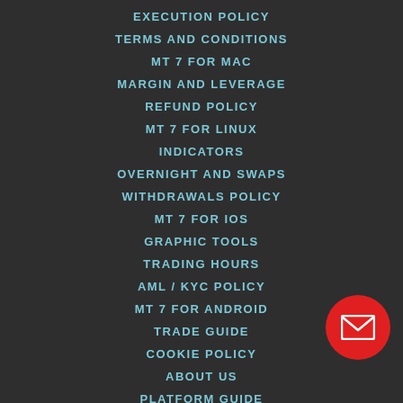EXECUTION POLICY
TERMS AND CONDITIONS
MT 7 FOR MAC
MARGIN AND LEVERAGE
REFUND POLICY
MT 7 FOR LINUX
INDICATORS
OVERNIGHT AND SWAPS
WITHDRAWALS POLICY
MT 7 FOR IOS
GRAPHIC TOOLS
TRADING HOURS
AML / KYC POLICY
MT 7 FOR ANDROID
TRADE GUIDE
COOKIE POLICY
ABOUT US
PLATFORM GUIDE
STRATEGIES
[Figure (other): Red circular mail/envelope button in bottom right corner]
[Figure (other): Row of country flag icons at the bottom of the page]